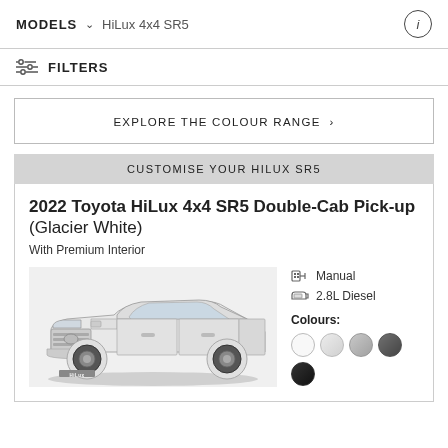MODELS  HiLux 4x4 SR5
FILTERS
EXPLORE THE COLOUR RANGE ›
CUSTOMISE YOUR HILUX SR5
2022 Toyota HiLux 4x4 SR5 Double-Cab Pick-up (Glacier White)
With Premium Interior
[Figure (photo): White Toyota HiLux 4x4 SR5 Double-Cab pick-up truck, front three-quarter view]
Manual
2.8L Diesel
Colours: